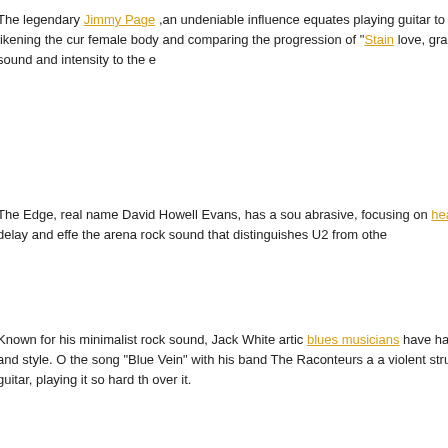The legendary Jimmy Page, an undeniable influence equates playing guitar to having sex, likening the curves of a female body and comparing the progression of "Stairway to Heaven" to love, gradually building in sound and intensity to the climax.
The Edge, real name David Howell Evans, has a sound that is less abrasive, focusing on heavy distortion, delay and effects to create the arena rock sound that distinguishes U2 from other bands.
Known for his minimalist rock sound, Jack White articulates the impact blues musicians have had on his sound and style. One story describes the song "Blue Vein" with his band The Raconteurs as being a violent struggle with his guitar, playing it so hard that he broke over it.
In the film, Page, The Edge and White come together, describing it as being a jam session) perfectly exemplifying how the guitar can produce varying sounds and effects based on the techniques used, showing that it is a language onto itself.
Next week I will be speaking with Elizabeth Chai Vasarhelyi about "Youssou N'Dour: I Bring What I Love." The film focuses on Youssou N'Dour, who is credited with popularizing mbalax, blending traditional griot percussion, praise-singing and Afro-Cuban music. It documents the frustrations that N'Dour has with the world perceiving Islam as a violent and dangerous religion. In an att...